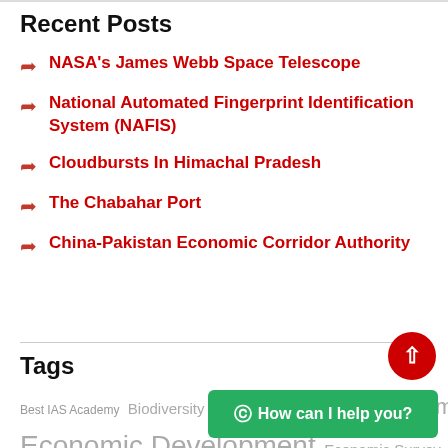Recent Posts
NASA's James Webb Space Telescope
National Automated Fingerprint Identification System (NAFIS)
Cloudbursts In Himachal Pradesh
The Chabahar Port
China-Pakistan Economic Corridor Authority
Tags
Best IAS Academy Biodiversity Budget Disaster management Diseases Economic Development Economic Survey Education GS-1 Art and Culture GS-1 Geography GS-1 History GS-2 Agriculture GS-2 Bilateral GS-2 Environment and